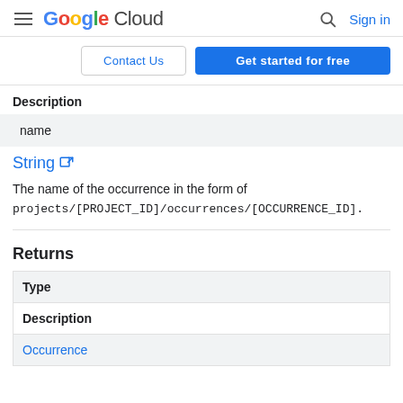Google Cloud  Sign in
Contact Us  Get started for free
Description
name
String
The name of the occurrence in the form of projects/[PROJECT_ID]/occurrences/[OCCURRENCE_ID].
Returns
| Type | Description |
| --- | --- |
| Occurrence |  |